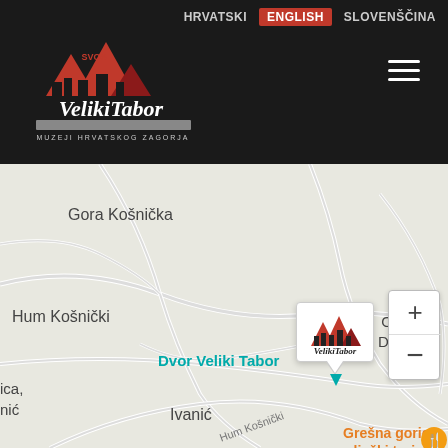[Figure (screenshot): Website header for Veliki Tabor museum (Muzeji Hrvatskog Zagorja) with dark background, logo on left, hamburger menu icon on right, and language selection nav bar (HRVATSKI, ENGLISH, SLOVENŠČINA) at top right.]
[Figure (map): Google Maps screenshot showing the area around Dvor Veliki Tabor in Croatia. Visible place names: Gora Košnička, Hum Košnički, Osredek Desinički, Dvor Veliki Tabor (with map marker/popup showing Veliki Tabor logo), Grešna gorica seljački turizam (restaurant pin), Ivanić. Road label: Hum Košnički. Zoom controls (+ and -) visible in bottom right.]